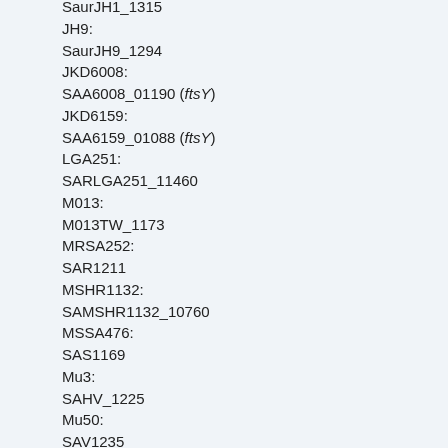SaurJH1_1315
JH9:
SaurJH9_1294
JKD6008:
SAA6008_01190 (ftsY)
JKD6159:
SAA6159_01088 (ftsY)
LGA251:
SARLGA251_11460
M013:
M013TW_1173
MRSA252:
SAR1211
MSHR1132:
SAMSHR1132_10760
MSSA476:
SAS1169
Mu3:
SAHV_1225
Mu50:
SAV1235
MW2:
MW1118
RF122: